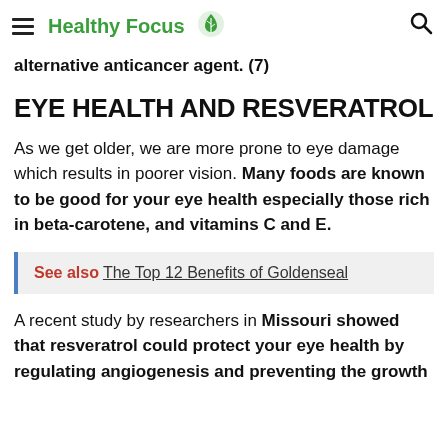Healthy Focus
alternative anticancer agent. (7)
EYE HEALTH AND RESVERATROL
As we get older, we are more prone to eye damage which results in poorer vision. Many foods are known to be good for your eye health especially those rich in beta-carotene, and vitamins C and E.
See also  The Top 12 Benefits of Goldenseal
A recent study by researchers in Missouri showed that resveratrol could protect your eye health by regulating angiogenesis and preventing the growth